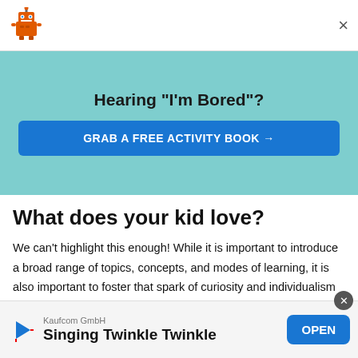[Figure (logo): Robot/toy icon logo in top-left corner]
×
Hearing "I'm Bored"?
GRAB A FREE ACTIVITY BOOK →
What does your kid love?
We can't highlight this enough! While it is important to introduce a broad range of topics, concepts, and modes of learning, it is also important to foster that spark of curiosity and individualism that will make learning and STEM and enjoyable, life-long endeavor. Take this into consideration
Kaufcom GmbH
Singing Twinkle Twinkle
OPEN